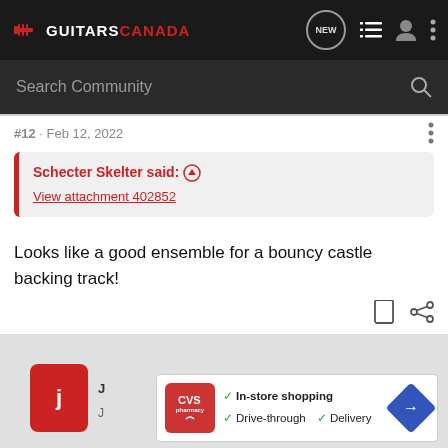GUITARS CANADA — navigation header with search bar
#12 · Feb 12, 2022
Schecter Skelter said: ↑
View attachment 402852
Looks like a good ensemble for a bouncy castle backing track!
[Figure (screenshot): Ad banner: CVS Pharmacy — In-store shopping, Drive-through, Delivery]